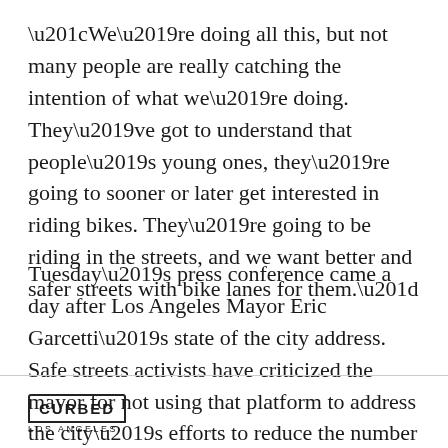“We’re doing all this, but not many people are really catching the intention of what we’re doing. They’ve got to understand that people’s young ones, they’re going to sooner or later get interested in riding bikes. They’re going to be riding in the streets, and we want better and safer streets with bike lanes for them.”
Tuesday’s press conference came a day after Los Angeles Mayor Eric Garcetti’s state of the city address. Safe streets activists have criticized the mayor for not using that platform to address the city’s efforts to reduce the number of pedestrians, bicyclists, and drivers who are killed in traffic crashes on LA’s streets.
[Figure (logo): Curbed Los Angeles logo: text CURBED in a house-shaped outline box, with LOS ANGELES below]